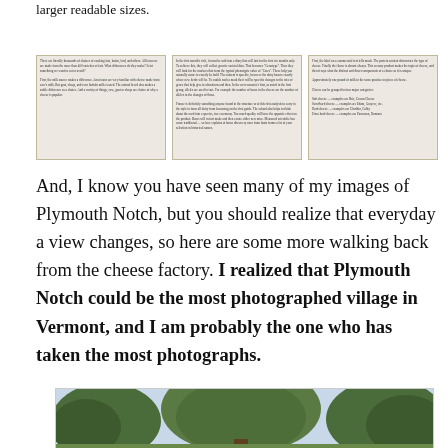larger readable sizes.
[Figure (photo): Three side-by-side images of document/text pages, appearing to be zoomed-in views of printed cheese-related educational materials.]
And, I know you have seen many of my images of Plymouth Notch, but you should realize that everyday a view changes, so here are some more walking back from the cheese factory. I realized that Plymouth Notch could be the most photographed village in Vermont, and I am probably the one who has taken the most photographs.
[Figure (photo): Outdoor nature photograph showing large green trees against a light sky, appearing to be a landscape scene from Plymouth Notch, Vermont.]